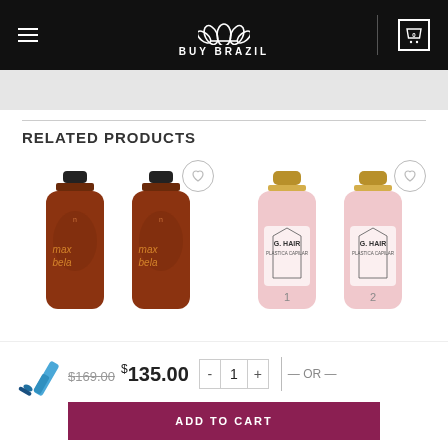BUY BRAZIL
RELATED PRODUCTS
[Figure (photo): Two dark brown bottles of Max Bela hair product with black caps, with a heart/wishlist icon button]
[Figure (photo): Two pink bottles of G. Hair Plastica Capilar product with gold caps labeled 1 and 2, with a heart/wishlist icon button]
[Figure (photo): Small blue hair styling iron/curler icon]
$169.00 $135.00
- 1 + — OR —
ADD TO CART